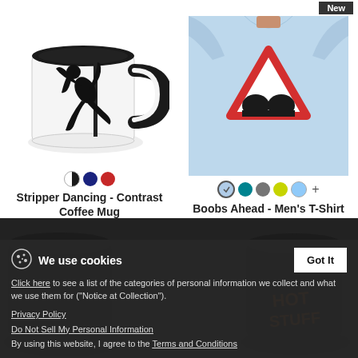[Figure (photo): White coffee mug with black interior and handle, featuring a black silhouette of a stripper dancing on a pole]
[Figure (photo): Man wearing a light blue t-shirt with a red triangle warning sign containing a black silhouette of breasts; 'New' badge in top corner]
Stripper Dancing - Contrast Coffee Mug
$16.49
Boobs Ahead - Men's T-Shirt
$21.99
We use cookies
Click here to see a list of the categories of personal information we collect and what we use them for ("Notice at Collection").
Privacy Policy
Do Not Sell My Personal Information
By using this website, I agree to the Terms and Conditions